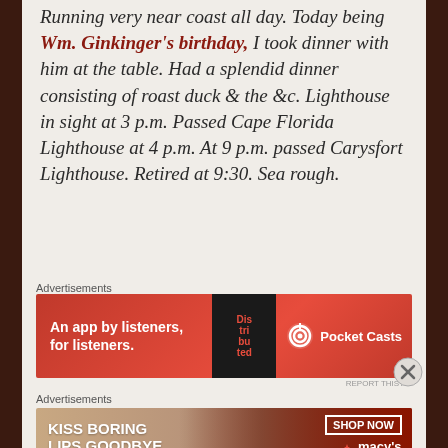Running very near coast all day. Today being Wm. Ginkinger's birthday, I took dinner with him at the table. Had a splendid dinner consisting of roast duck & the &c. Lighthouse in sight at 3 p.m. Passed Cape Florida Lighthouse at 4 p.m. At 9 p.m. passed Carysfort Lighthouse. Retired at 9:30. Sea rough.
Advertisements
[Figure (other): Pocket Casts advertisement banner: 'An app by listeners, for listeners.' with a phone image and Pocket Casts logo on red background.]
Advertisements
[Figure (other): Macy's advertisement banner: 'KISS BORING LIPS GOODBYE' with a woman's face and red lips, 'SHOP NOW' button and Macy's star logo.]